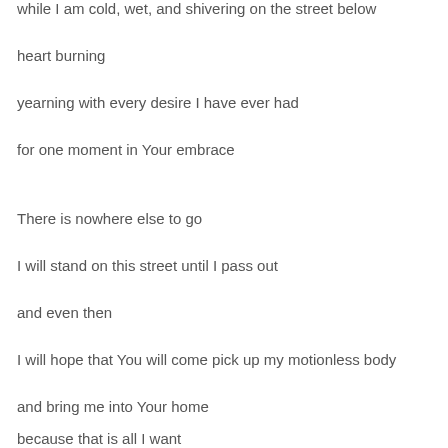while I am cold, wet, and shivering on the street below
heart burning
yearning with every desire I have ever had
for one moment in Your embrace
There is nowhere else to go
I will stand on this street until I pass out
and even then
I will hope that You will come pick up my motionless body
and bring me into Your home
because that is all I want